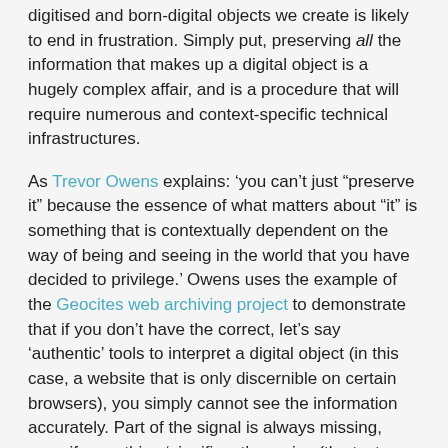digitised and born-digital objects we create is likely to end in frustration. Simply put, preserving all the information that makes up a digital object is a hugely complex affair, and is a procedure that will require numerous and context-specific technical infrastructures.
As Trevor Owens explains: ‘you can’t just “preserve it” because the essence of what matters about “it” is something that is contextually dependent on the way of being and seeing in the world that you have decided to privilege.’ Owens uses the example of the Geocites web archiving project to demonstrate that if you don’t have the correct, let’s say ‘authentic’ tools to interpret a digital object (in this case, a website that is only discernible on certain browsers), you simply cannot see the information accurately. Part of the signal is always missing, even if something ‘significant’ remains (the text or parts of the graphics).
It may be desirable ‘to preserve all aspects of the platform in order to get at the historicity of the media